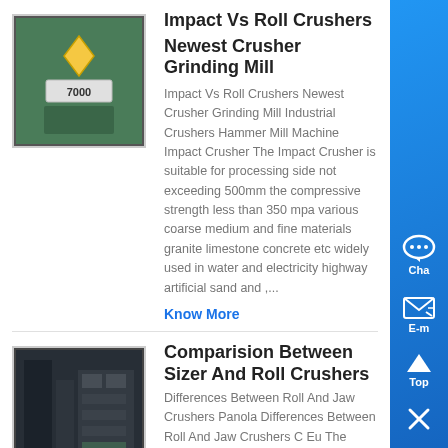[Figure (photo): Green industrial machine with diamond logo and the number 7000 visible]
Impact Vs Roll Crushers
Newest Crusher Grinding Mill
Impact Vs Roll Crushers Newest Crusher Grinding Mill Industrial Crushers Hammer Mill Machine Impact Crusher The Impact Crusher is suitable for processing side not exceeding 500mm the compressive strength less than 350 mpa various coarse medium and fine materials granite limestone concrete etc widely used in water and electricity highway artificial sand and ,...
Know More
[Figure (photo): Dark industrial facility interior, machinery visible]
Comparision Between Sizer And Roll Crushers
Differences Between Roll And Jaw Crushers Panola Differences Between Roll And Jaw Crushers C Eu The